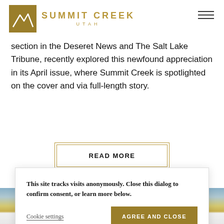[Figure (logo): Summit Creek Utah logo — golden square with mountain line drawing, and text 'SUMMIT CREEK UTAH' in gold beside it]
section in the Deseret News and The Salt Lake Tribune, recently explored this newfound appreciation in its April issue, where Summit Creek is spotlighted on the cover and via full-length story.
READ MORE
This site tracks visits anonymously. Close this dialog to confirm consent, or learn more below.
Cookie settings
AGREE AND CLOSE
[Figure (photo): Partial view of modern houses with yellow and white facades, blue sky visible at top]